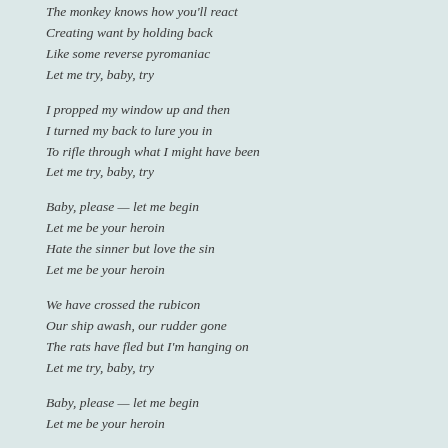The monkey knows how you'll react
Creating want by holding back
Like some reverse pyromaniac
Let me try, baby, try
I propped my window up and then
I turned my back to lure you in
To rifle through what I might have been
Let me try, baby, try
Baby, please — let me begin
Let me be your heroin
Hate the sinner but love the sin
Let me be your heroin
We have crossed the rubicon
Our ship awash, our rudder gone
The rats have fled but I'm hanging on
Let me try, baby, try
Baby, please — let me begin
Let me be your heroin